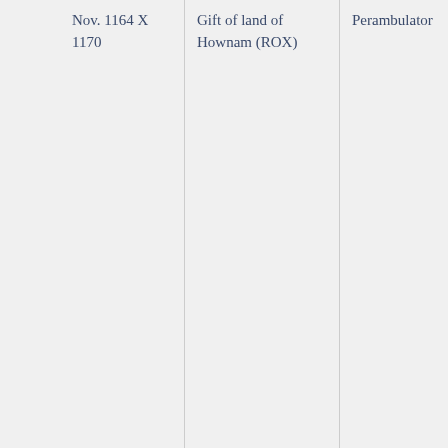| Nov. 1164 X 1170 | Gift of land of Hownam (ROX) | Perambulator | bishop-elect of Glasgow (d.1199); Hugh, king's clerk (TRW); Ingram, bishop of Glasgow (d.1174); John of Roxburgh, master, treasurer of Glasgow (d.1196); Richard of St Albans, king's clerk; Richard bishop of Dunkeld (d.1178); Robert Avene... |